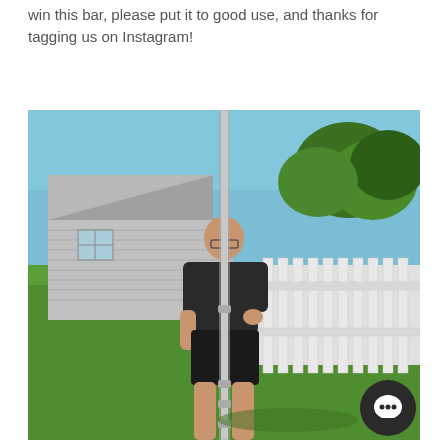win this bar, please put it to good use, and thanks for tagging us on Instagram!
[Figure (photo): A man wearing a black t-shirt and black shorts standing on a green lawn in a backyard, holding a long metal barbell vertically. Behind him is a grey house, white vinyl fence, green trees, and blue sky. A chat bubble icon appears in the bottom right corner of the photo.]